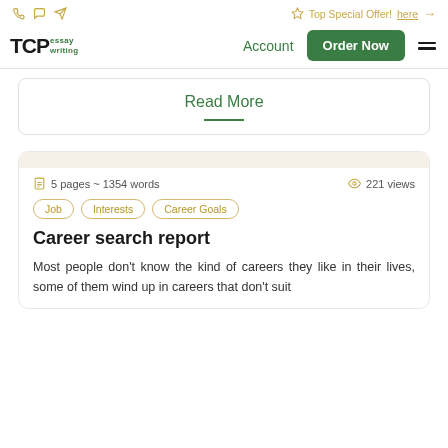Top Special Offer! here →
[Figure (logo): TCPessay writing logo with green text]
Account
Order Now
Read More
5 pages ~ 1354 words   221 views
Job
Interests
Career Goals
Career search report
Most people don't know the kind of careers they like in their lives, some of them wind up in careers that don't suit